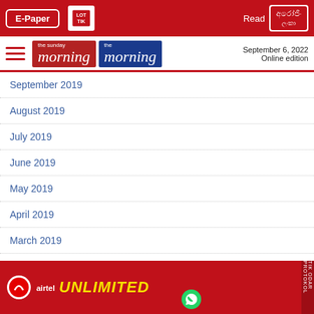E-Paper | Read [Sinhala edition]
[Figure (logo): The Sunday Morning and The Morning newspaper logos with date September 6, 2022, Online edition]
September 2019
August 2019
July 2019
June 2019
May 2019
April 2019
March 2019
February 2019
January 2019
December
November
[Figure (advertisement): Airtel UNLIMITED advertisement banner in red with yellow text]